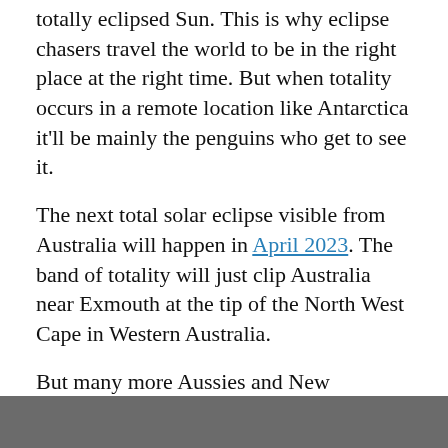totally eclipsed Sun. This is why eclipse chasers travel the world to be in the right place at the right time. But when totality occurs in a remote location like Antarctica it'll be mainly the penguins who get to see it.
The next total solar eclipse visible from Australia will happen in April 2023. The band of totality will just clip Australia near Exmouth at the tip of the North West Cape in Western Australia.
But many more Aussies and New Zealanders will get to see a total solar eclipse on July 22 2028. Totality will stretch across Australia, from the top of WA down through New South Wales, passing directly over Sydney. It will also cross the South